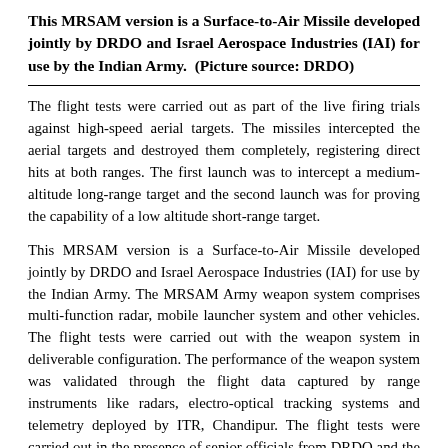This MRSAM version is a Surface-to-Air Missile developed jointly by DRDO and Israel Aerospace Industries (IAI) for use by the Indian Army.  (Picture source: DRDO)
The flight tests were carried out as part of the live firing trials against high-speed aerial targets. The missiles intercepted the aerial targets and destroyed them completely, registering direct hits at both ranges. The first launch was to intercept a medium-altitude long-range target and the second launch was for proving the capability of a low altitude short-range target.
This MRSAM version is a Surface-to-Air Missile developed jointly by DRDO and Israel Aerospace Industries (IAI) for use by the Indian Army. The MRSAM Army weapon system comprises multi-function radar, mobile launcher system and other vehicles. The flight tests were carried out with the weapon system in deliverable configuration. The performance of the weapon system was validated through the flight data captured by range instruments like radars, electro-optical tracking systems and telemetry deployed by ITR, Chandipur. The flight tests were carried out in the presence of senior officials from DRDO and the Indian Army.
Raksha Mantri Shri Rajnath Singh has congratulated DRDO, the